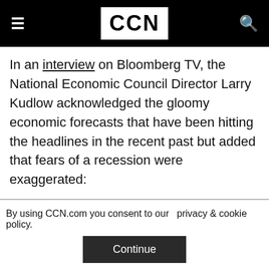CCN
In an interview on Bloomberg TV, the National Economic Council Director Larry Kudlow acknowledged the gloomy economic forecasts that have been hitting the headlines in the recent past but added that fears of a recession were exaggerated:
There's no recession in sight. I know this has been a gloomy period and I know
By using CCN.com you consent to our  privacy & cookie policy.
Continue